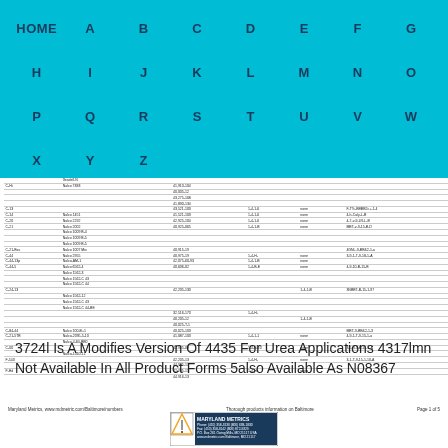HOME A B C D E F G H I J K L M N O P Q R S T U V W X Y Z
| C-Hi | Nalco 7383 | 41,910-104 |  |  |  |
|  |  | 40,005-12 |  |  |  |
|  |  | 43,275-168 |  |  |  |
|  |  | 41,890-134 |  |  |  |
| C-13 |  | 43,521-103 | 1-4-1-6 | none | F-T%-BBBB2c+-1-4 |
| C-14 | Nalco 1451 | 41,521-103 | 1-4-1-6 | none | 4-h-Caly-L-B |
| C-20 | Nalco 2292 | 42,925-104 | 1-4-1-6 | none | 4-7-v-9-LR-L-B |
| C-21 | Nalco 2002 | 40,925-065 | 1-4-1-B | none | MBT-v-9-15-B-D |
|  | Nalco 1009 B-4 |  |  |  |  |
|  | Nalco 1009 B-5 |  |  |  |  |
|  | Nalco 1009 B-5 |  |  |  |  |
| C-21-Bss | Nalco 1007 Mix | 40,915-19 |  |  | 4GNL-9-BB&2-1-a |
| C-44 | Nalco 2955 | 40,975-19 | 1-4-H- | none | 3-9-1-T-9-18-1-A |
| C-44-13p | Nalco-AM-1 | 42,075-60-93 | 1-4-1-B | none |  |
| C-44-5 | Nalco 6562-4 | 40,606-02 | 1-4-B-E | none | 4-9-10-B-15-B |
|  | Nalco 1562-3 |  |  |  |  |
|  | Nalco 1562-C 43 |  |  |  |  |
|  | Nalco 1562-C 44 |  |  |  |  |
| C-24-13 |  | 42,205-130 |  | 1-4-1-B | 3NBBT-B-15-1-97 |
|  | Nalco 1562-12 |  |  |  |  |
|  | Nalco 1562-C 43 |  |  |  |  |
|  | Nalco 1562-C 44-BE |  |  |  |  |
|  |  | 32,516-170 | 1-4-H- |  |  |
|  |  | 40,205-12 |  | 1-4-1-B |  |
|  |  | 40,025-T-1 |  |  |  |
| C-84-44 | Nalco 100-B+1 | 40,025-103 |  |  | MBT-9-BB&2-1-3 |
| C-21-5TB | Nalco-2095-5-13 | 41,087-103 | 1-4-1-1 | none | 4-9-1-T-9-15-1-a |
|  | Nalco-4-84-BB0 |  |  |  |  |
| C-00 |  | 42,925-09 | 1-4-B-10 | none | 3-5-9-T-B-15-1-A |
|  | Nalco-1010-11 |  |  |  |  |
| F-543 |  | 42,205-13 | 1-4-H- | none | 3-1-T-9-15-1-10-A |
|  |  | 44,995-13 |  |  |  |
| F-Hd |  | 42,205-13 | 1-4-H- | none |  |
|  |  | 44,916-13 |  |  |  |
| F-hd |  |  |  |  |  |
| F-80 |  | 41,210-12 | 1-4-H- |  | F-T-B-AA&4a-1-9 |
| F-80 |  | 41,025-12 | 1-4-B-9 |  |  |
| F-80-N | Nalco-2087-15 | 41,215-18 | 1-4-B-13 |  | 41-001-BB2-1-17 |
| F-80-N | Nalco-2017-15 | 41,215-18 |  |  | 4-J-2-BB2-1-17 |
| F-80-M | Nalco-2087-15 | 40,215-18 | 1-4-B-1 |  | 41-004-BB2-1-17 |
| F-80-M |  | 40,015-18 | 1-4-B-3 |  |  |
| F-80-M |  | 44,005-18 |  |  |  |
3724l Is A Modifies Version Of 4435 For Urea Applications 4317lmn Not Available In All Product Forms 5also Available As N08367
Maryland Metrics, www.mdmetric.com/Baltimore/numbers    Thorough products information on Baltimore    Page 1 of 5